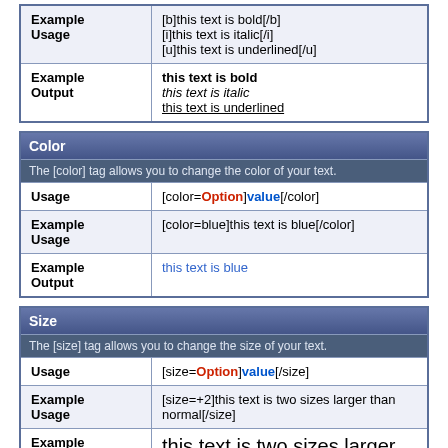|  |  |
| --- | --- |
| Example Usage | [b]this text is bold[/b]
[i]this text is italic[/i]
[u]this text is underlined[/u] |
| Example Output | this text is bold / this text is italic / this text is underlined |
| Color |  |
| The [color] tag allows you to change the color of your text. |  |
| Usage | [color=Option]value[/color] |
| Example Usage | [color=blue]this text is blue[/color] |
| Example Output | this text is blue |
| Size |  |
| The [size] tag allows you to change the size of your text. |  |
| Usage | [size=Option]value[/size] |
| Example Usage | [size=+2]this text is two sizes larger than normal[/size] |
| Example Output | this text is two sizes larger |